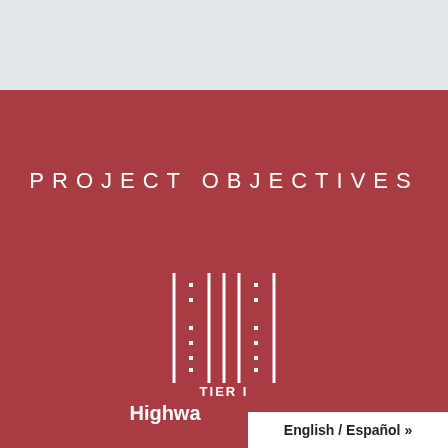PROJECT OBJECTIVES
[Figure (logo): Highway road cross-section schematic icon showing lanes with dashed dividers, rendered in white lines on dark red background]
TIER I
Highwa
English / Español »